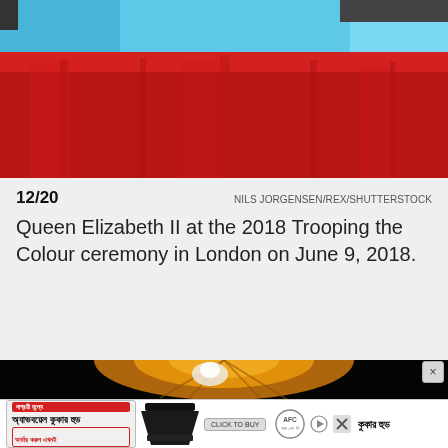[Figure (photo): Top portion of a photograph showing Queen Elizabeth II in a teal/cyan coat with red fabric or ceremonial backdrop visible below]
12/20	NILS JORGENSEN/REX/SHUTTERSTOCK
Queen Elizabeth II at the 2018 Trooping the Colour ceremony in London on June 9, 2018.
[Figure (photo): Bottom portion showing a dark image with an orange/golden glowing orb or lamp visible, likely a basketball or chandelier]
[Figure (screenshot): Advertisement banner in Bengali script with kitchen hood image and RFC logo]